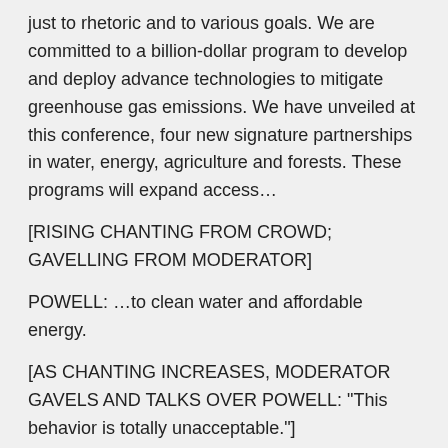just to rhetoric and to various goals. We are committed to a billion-dollar program to develop and deploy advance technologies to mitigate greenhouse gas emissions. We have unveiled at this conference, four new signature partnerships in water, energy, agriculture and forests. These programs will expand access…
[RISING CHANTING FROM CROWD; GAVELLING FROM MODERATOR]
POWELL: …to clean water and affordable energy.
[AS CHANTING INCREASES, MODERATOR GAVELS AND TALKS OVER POWELL: "This behavior is totally unacceptable."]
POWELL: …provide jobs and improve food supplies for millions of people in need.
[CHEERING AND APPLAUSE FROM HALL]